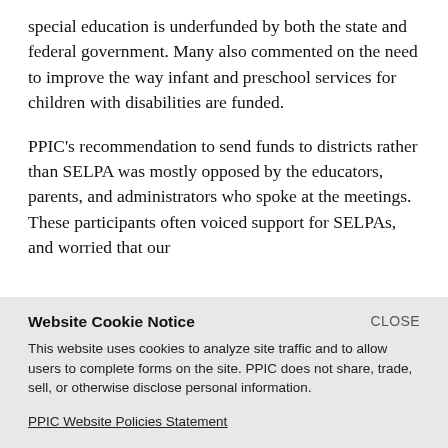special education is underfunded by both the state and federal government. Many also commented on the need to improve the way infant and preschool services for children with disabilities are funded.
PPIC's recommendation to send funds to districts rather than SELPA was mostly opposed by the educators, parents, and administrators who spoke at the meetings. These participants often voiced support for SELPAs, and worried that our
Website Cookie Notice
This website uses cookies to analyze site traffic and to allow users to complete forms on the site. PPIC does not share, trade, sell, or otherwise disclose personal information.
PPIC Website Policies Statement